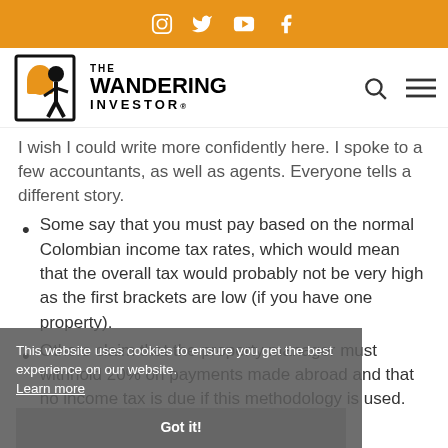Social media icons: Instagram, Twitter, YouTube, Facebook
[Figure (logo): The Wandering Investor logo with backpacker icon and text]
I wish I could write more confidently here. I spoke to a few accountants, as well as agents. Everyone tells a different story.
Some say that you must pay based on the normal Colombian income tax rates, which would mean that the overall tax would probably not be very high as the first brackets are low (if you have one property).
Others claim that the property manager must withhold 20% on payments made abroad and that no income tax is due if this methodology is used.
Cookie banner: This website uses cookies to ensure you get the best experience on our website. Learn more. Got it!